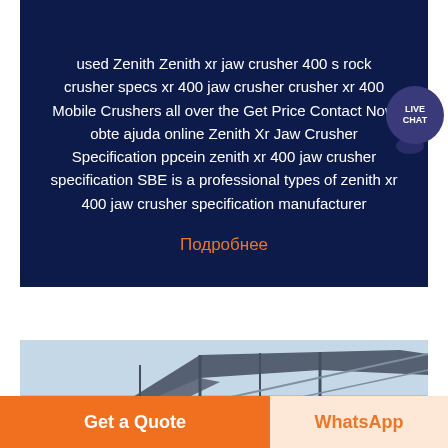CRUSHER
used Zenith Zenith xr jaw crusher 400 s rock crusher specs xr 400 jaw crusher crusher xr 400 Mobile Crushers all over the Get Price Contact Now obte ajuda online Zenith Xr Jaw Crusher Specification ppcein zenith xr 400 jaw crusher specification SBE is a professional types of zenith xr 400 jaw crusher specification manufacturer
Подробнее
[Figure (photo): Industrial structure with metal roof framing against a blue sky]
Get a Quote
WhatsApp